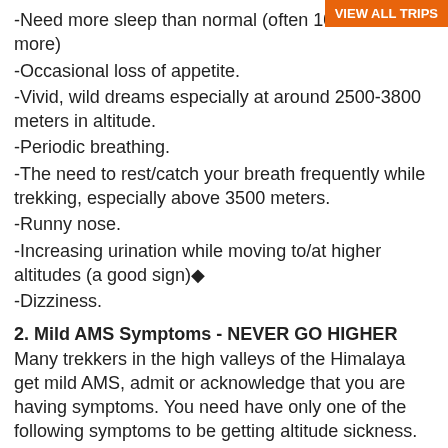VIEW ALL TRIPS
-Need more sleep than normal (often 10 hours or more)
-Occasional loss of appetite.
-Vivid, wild dreams especially at around 2500-3800 meters in altitude.
-Periodic breathing.
-The need to rest/catch your breath frequently while trekking, especially above 3500 meters.
-Runny nose.
-Increasing urination while moving to/at higher altitudes (a good sign)◆
-Dizziness.
2. Mild AMS Symptoms - NEVER GO HIGHER
Many trekkers in the high valleys of the Himalaya get mild AMS, admit or acknowledge that you are having symptoms. You need have only one of the following symptoms to be getting altitude sickness.
-Mild headache.
-Nausea